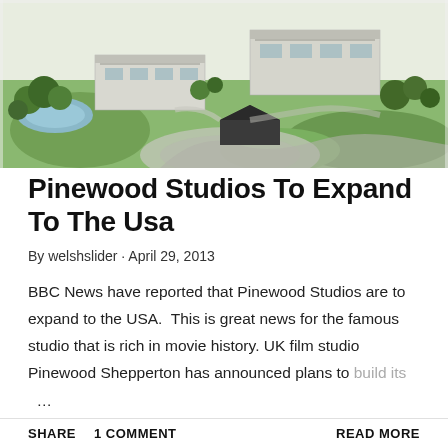[Figure (illustration): Aerial architectural rendering of Pinewood Studios expansion showing modern buildings, green landscaped grounds, trees, circular driveway, and a pond.]
Pinewood Studios To Expand To The Usa
By welshslider · April 29, 2013
BBC News have reported that Pinewood Studios are to expand to the USA.  This is great news for the famous studio that is rich in movie history. UK film studio Pinewood Shepperton has announced plans to build its …
SHARE   1 COMMENT   READ MORE